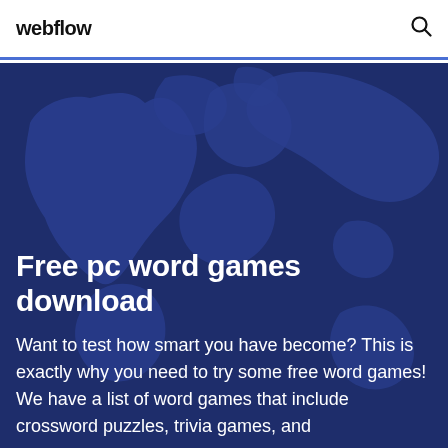webflow
[Figure (illustration): World map silhouette on dark navy/blue background used as a hero banner image]
Free pc word games download
Want to test how smart you have become? This is exactly why you need to try some free word games! We have a list of word games that include crossword puzzles, trivia games, and